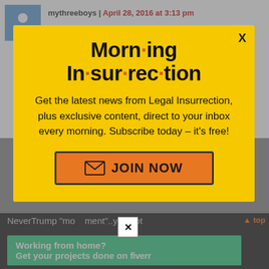mythreeboys | April 28, 2016 at 3:13 pm
So..if Trump plays golf w/ a politician..he’s an insider? If he plays golf w/ a football player does that make
Morn·ing In·sur·rec·tion
Get the latest news from Legal Insurrection, plus exclusive content, direct to your inbox every morning. Subscribe today – it’s free!
JOIN NOW
NeverTrump “mo✕⁠ment”..yea not
Working from home?
Get your projects done on fiverr